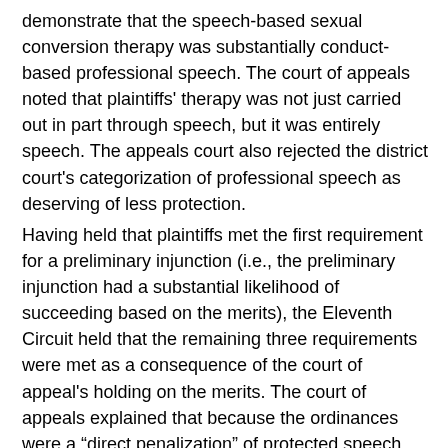demonstrate that the speech-based sexual conversion therapy was substantially conduct-based professional speech. The court of appeals noted that plaintiffs' therapy was not just carried out in part through speech, but it was entirely speech. The appeals court also rejected the district court's categorization of professional speech as deserving of less protection.
Having held that plaintiffs met the first requirement for a preliminary injunction (i.e., the preliminary injunction had a substantial likelihood of succeeding based on the merits), the Eleventh Circuit held that the remaining three requirements were met as a consequence of the court of appeal's holding on the merits. The court of appeals explained that because the ordinances were a “direct penalization” of protected speech, continuation of the ordinances even for “minimal periods of time” would be an “irreparable injury.” Additionally, because the defendants are the government, the court said that the government and public interest have no legitimate interest in enforcing an unconstitutional ordinance.